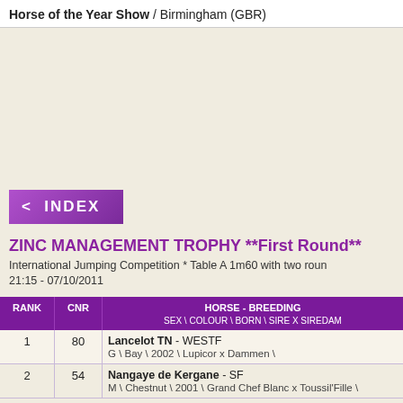Horse of the Year Show / Birmingham (GBR)
ZINC MANAGEMENT TROPHY **First Round**
International Jumping Competition * Table A 1m60 with two rounds
21:15 - 07/10/2011
| RANK | CNR | HORSE - BREEDING
SEX \ COLOUR \ BORN \ SIRE X SIREDAM |
| --- | --- | --- |
| 1 | 80 | Lancelot TN - WESTF
G \ Bay \ 2002 \ Lupicor x Dammen \ |
| 2 | 54 | Nangaye de Kergane - SF
M \ Chestnut \ 2001 \ Grand Chef Blanc x Toussil'Fille \ |